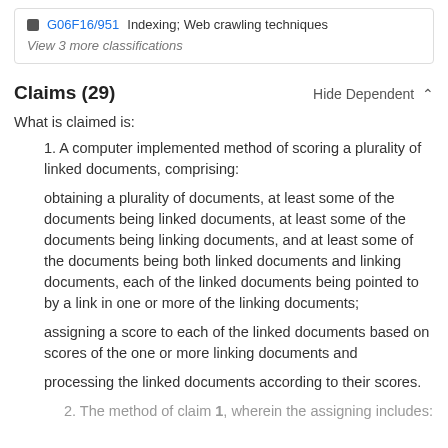G06F16/951  Indexing; Web crawling techniques
View 3 more classifications
Claims (29)
What is claimed is:
1. A computer implemented method of scoring a plurality of linked documents, comprising:
obtaining a plurality of documents, at least some of the documents being linked documents, at least some of the documents being linking documents, and at least some of the documents being both linked documents and linking documents, each of the linked documents being pointed to by a link in one or more of the linking documents;
assigning a score to each of the linked documents based on scores of the one or more linking documents and
processing the linked documents according to their scores.
2. The method of claim 1, wherein the assigning includes: